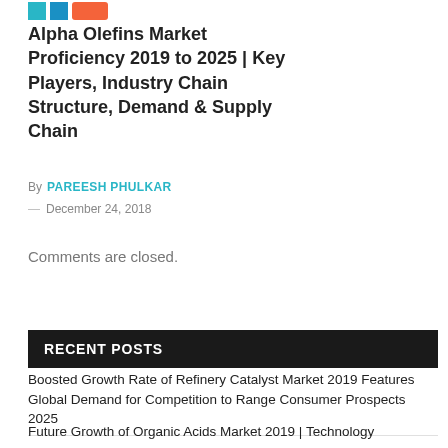[Figure (logo): Small icon squares in cyan and orange colors]
Alpha Olefins Market Proficiency 2019 to 2025 | Key Players, Industry Chain Structure, Demand & Supply Chain
By PAREESH PHULKAR
— December 24, 2018
Comments are closed.
RECENT POSTS
Boosted Growth Rate of Refinery Catalyst Market 2019 Features Global Demand for Competition to Range Consumer Prospects 2025
Future Growth of Organic Acids Market 2019 | Technology